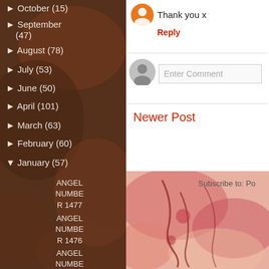► October (15)
► September (47)
► August (78)
► July (53)
► June (50)
► April (101)
► March (63)
► February (60)
▼ January (57)
ANGEL NUMBER 1477
ANGEL NUMBER 1476
ANGEL NUMBER 1475
ANGEL NUMBER 1474
Thank you x
Reply
Enter Comment
Newer Post
Subscribe to: Po